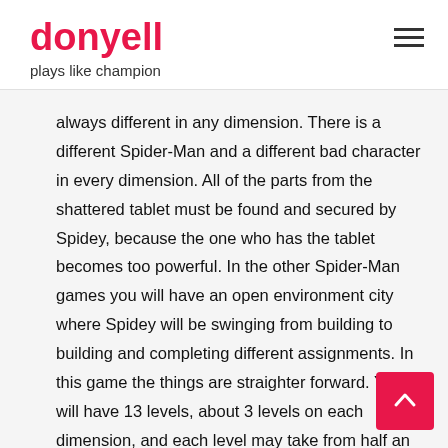donyell
plays like champion
always different in any dimension. There is a different Spider-Man and a different bad character in every dimension. All of the parts from the shattered tablet must be found and secured by Spidey, because the one who has the tablet becomes too powerful. In the other Spider-Man games you will have an open environment city where Spidey will be swinging from building to building and completing different assignments. In this game the things are straighter forward. You will have 13 levels, about 3 levels on each dimension, and each level may take from half an hour to a hour to complete. Each dimension has its own characteristic gameplay. The 4 dimensions: The Amazing Universe , The Noir Universe, The 2099 Universe